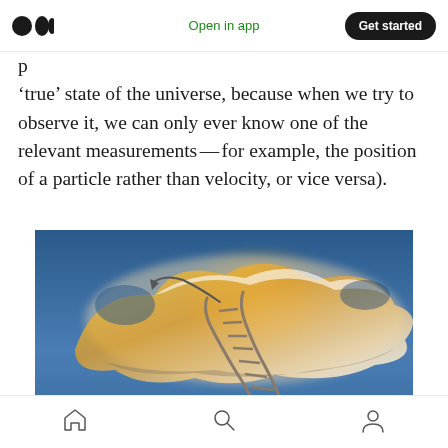Medium logo | Open in app | Get started
'true' state of the universe, because when we try to observe it, we can only ever know one of the relevant measurements — for example, the position of a particle rather than velocity, or vice versa).
[Figure (photo): A ladder curving upward into a dramatic sky with large glowing golden-orange clouds on a blue background, viewed from below looking up, conveying ascent or reaching toward the heavens.]
Home | Search | Profile